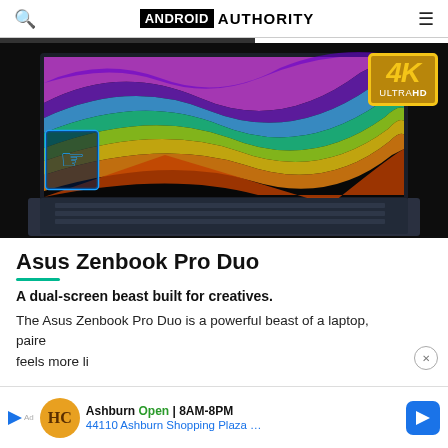ANDROID AUTHORITY
[Figure (photo): Asus Zenbook Pro Duo laptop with colorful swirling wallpaper on 4K UHD display, with a touch/hand pointer icon on the lower-left of screen, and a 4K Ultra HD badge in the upper-right corner.]
Asus Zenbook Pro Duo
A dual-screen beast built for creatives.
The Asus Zenbook Pro Duo is a powerful beast of a laptop, paired... feels more li...
[Figure (infographic): Advertisement banner: HC logo with Ashburn Open 8AM-8PM, 44110 Ashburn Shopping Plaza ... with a blue navigation arrow icon.]